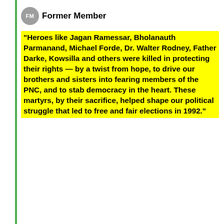Former Member
"Heroes like Jagan Ramessar, Bholanauth Parmanand, Michael Forde, Dr. Walter Rodney, Father Darke, Kowsilla and others were killed in protecting their rights — by a twist from hope, to drive our brothers and sisters into fearing members of the PNC, and to stab democracy in the heart. These martyrs, by their sacrifice, helped shape our political struggle that led to free and fair elections in 1992."
2/29/20  @  11:47 AM
Totaram
The electoral laws in 1973 did not provide for